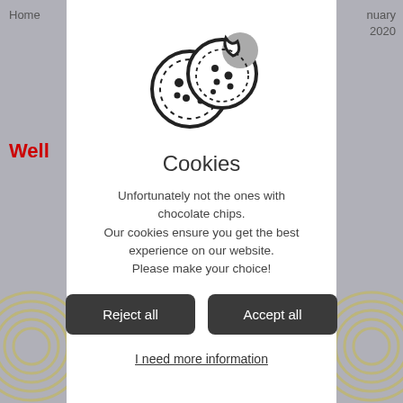Home  ...nuary 2020
Well
[Figure (illustration): Cookie icon: two cookies, one whole with chocolate chips and one with a bite taken out, drawn in outline style]
Cookies
Unfortunately not the ones with chocolate chips. Our cookies ensure you get the best experience on our website. Please make your choice!
Reject all   Accept all
I need more information